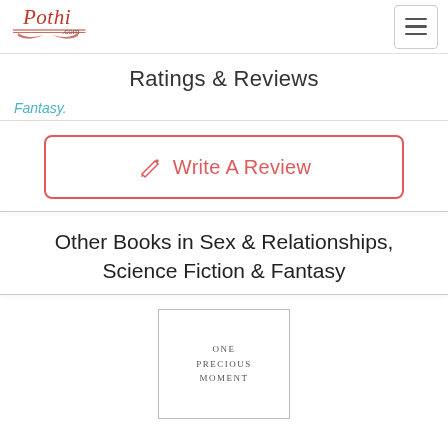Pothi.com
Ratings & Reviews
Fantasy.
Write A Review
Other Books in Sex & Relationships, Science Fiction & Fantasy
[Figure (illustration): Book cover thumbnail showing text: ONE PRECIOUS MOMENT]